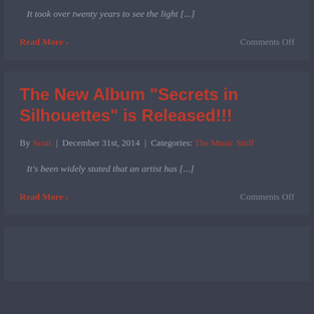It took over twenty years to see the light [...]
Read More >
Comments Off
The New Album “Secrets in Silhouettes” is Released!!!
By Scott | December 31st, 2014 | Categories: The Music Stuff
It's been widely stated that an artist has [...]
Read More >
Comments Off